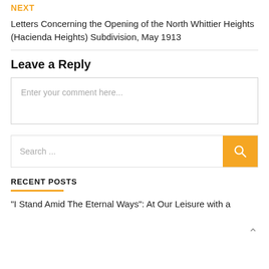NEXT
Letters Concerning the Opening of the North Whittier Heights (Hacienda Heights) Subdivision, May 1913
Leave a Reply
Enter your comment here...
Search ...
RECENT POSTS
“I Stand Amid The Eternal Ways”: At Our Leisure with a